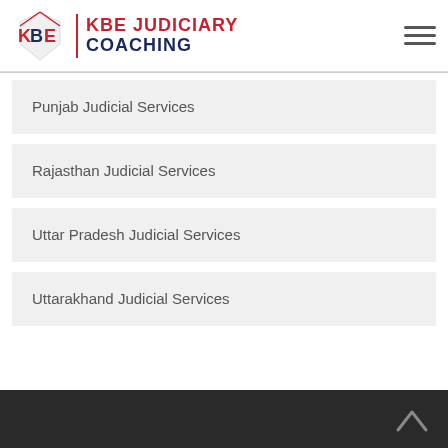KBE JUDICIARY COACHING
Punjab Judicial Services
Rajasthan Judicial Services
Uttar Pradesh Judicial Services
Uttarakhand Judicial Services